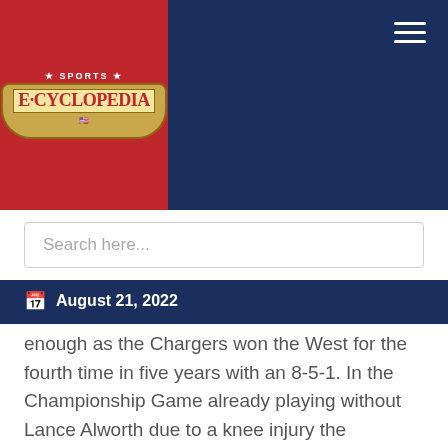[Figure (logo): Sports E-Cyclopedia logo on red background with shield/badge design]
August 21, 2022
enough as the Chargers won the West for the fourth time in five years with an 8-5-1. In the Championship Game already playing without Lance Alworth due to a knee injury the Chargers lose Running Back Keith Lincoln in the 1st Quarter to a rib injury as the Chargers are beaten by the Bills 20-7 in Buffalo.
1965:
The Chargers continue to be the best in the west as the win their fifth Western Division Title in six